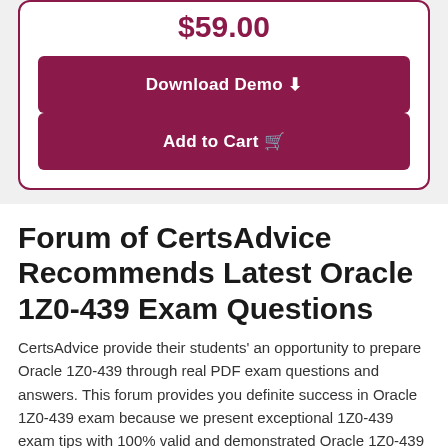$59.00
Download Demo
Add to Cart
Forum of CertsAdvice Recommends Latest Oracle 1Z0-439 Exam Questions
CertsAdvice provide their students' an opportunity to prepare Oracle 1Z0-439 through real PDF exam questions and answers. This forum provides you definite success in Oracle 1Z0-439 exam because we present exceptional 1Z0-439 exam tips with 100% valid and demonstrated Oracle 1Z0-439 PDF solved questions. Our